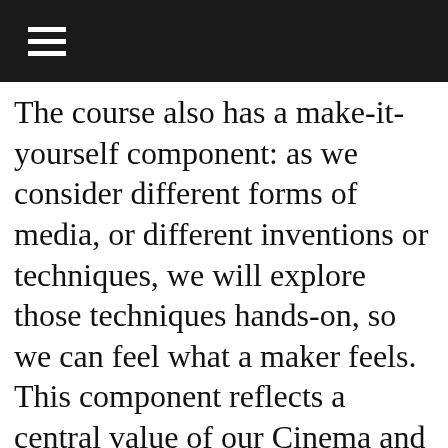☰
The course also has a make-it-yourself component: as we consider different forms of media, or different inventions or techniques, we will explore those techniques hands-on, so we can feel what a maker feels. This component reflects a central value of our Cinema and Media Studies Program: we expect all CAMS majors to know something about production, and something about